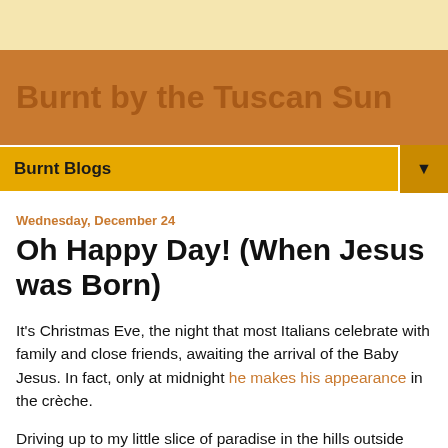Burnt by the Tuscan Sun
Burnt Blogs
Wednesday, December 24
Oh Happy Day! (When Jesus was Born)
It's Christmas Eve, the night that most Italians celebrate with family and close friends, awaiting the arrival of the Baby Jesus. In fact, only at midnight he makes his appearance in the crèche.
Driving up to my little slice of paradise in the hills outside Rome, I listened to my favorite Christmas Cds, and I noticed how American (and English) Christmas tunes are often more fun and funny, versus the reverence one pays here in Italy. If you stop and think about Jingle Bell Rock, even the lively